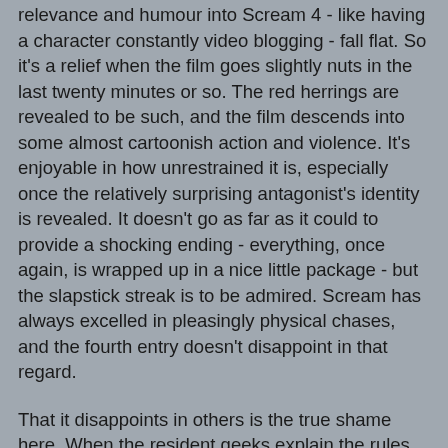relevance and humour into Scream 4 - like having a character constantly video blogging - fall flat. So it's a relief when the film goes slightly nuts in the last twenty minutes or so. The red herrings are revealed to be such, and the film descends into some almost cartoonish action and violence. It's enjoyable in how unrestrained it is, especially once the relatively surprising antagonist's identity is revealed. It doesn't go as far as it could to provide a shocking ending - everything, once again, is wrapped up in a nice little package - but the slapstick streak is to be admired. Scream has always excelled in pleasingly physical chases, and the fourth entry doesn't disappoint in that regard.
That it disappoints in others is the true shame here. When the resident geeks explain the rules of new horror, it doesn't feel as perceptive as the infamous "how to survive in a horror film" speech of the first. Occasionally when satirising reboots, franchise horror and indeed "meta" comedy horror itself Williamson and Craven have tongues embedded in cheeks and the film is good fun. That so much of Scre4m is what it purports to parody is one final layer of irony to the mix. Not the good kind either. It's probably the best Scream